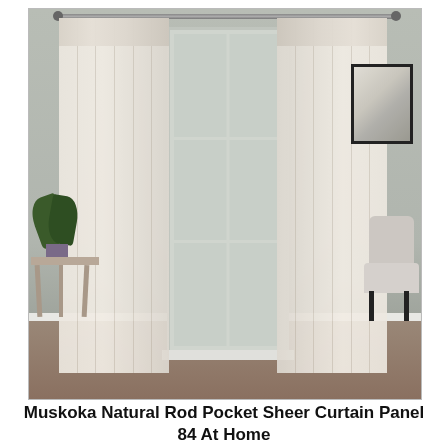[Figure (photo): Product photo of Muskoka Natural Rod Pocket Sheer Curtain Panel 84 At Home. Two sheer cream/natural colored curtain panels hang from a curtain rod over a large window in a styled living room setting. The room features gray-green walls, a wooden side table with a plant on the left, a framed artwork on the right wall, and a chair partially visible on the right.]
Muskoka Natural Rod Pocket Sheer Curtain Panel 84 At Home